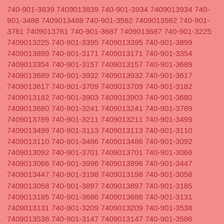740-901-3839 7409013839 740-901-3934 7409013934 740-901-3488 7409013488 740-901-3562 7409013562 740-901-3761 7409013761 740-901-3687 7409013687 740-901-3225 7409013225 740-901-3395 7409013395 740-901-3899 7409013899 740-901-3171 7409013171 740-901-3354 7409013354 740-901-3157 7409013157 740-901-3689 7409013689 740-901-3932 7409013932 740-901-3617 7409013617 740-901-3709 7409013709 740-901-3182 7409013182 740-901-3903 7409013903 740-901-3680 7409013680 740-901-3241 7409013241 740-901-3789 7409013789 740-901-3211 7409013211 740-901-3499 7409013499 740-901-3113 7409013113 740-901-3110 7409013110 740-901-3486 7409013486 740-901-3092 7409013092 740-901-3701 7409013701 740-901-3066 7409013066 740-901-3996 7409013996 740-901-3447 7409013447 740-901-3198 7409013198 740-901-3058 7409013058 740-901-3897 7409013897 740-901-3185 7409013185 740-901-3686 7409013686 740-901-3131 7409013131 740-901-3209 7409013209 740-901-3538 7409013538 740-901-3147 7409013147 740-901-3586 7409013586 740-901-3744 7409013744 740-901-3591 7409013591 740-901-3115 7409013115 740-901-3150 7409013150 740-901-3699 7409013699 740-901-3775 7409013775 740-901-3560 7409013560 740-901-3464 7409013464 740-901-3101 7409013101 740-901-3697 7409013697 740-901-3925 7409013925 740-901-3980 7409013980 740-901-3452 7409013452 740-901-3304 7409013304 740-901-3636 7409013636 740-901-3282 7409013282 740-901-3818 7409013818 740-901-3183 7409013183 740-901-3731 7409013731 740-901-3951 7409013951 740-901-3665 7409013665 740-901-3534 7409013534